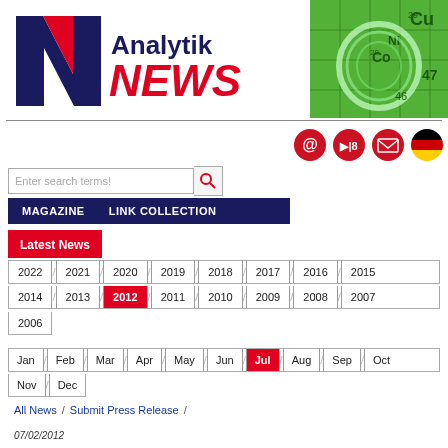[Figure (logo): Analytik NEWS logo with red N graphic and text]
[Figure (photo): Green chemistry/periodic table background photo]
[Figure (infographic): Red circular icons: email @, speaker, mail, German flag]
Enter search terms!
MAGAZINE   LINK COLLECTION
Latest News
2022 / 2021 / 2020 / 2019 / 2018 / 2017 / 2016 / 2015
2014 / 2013 / 2012 / 2011 / 2010 / 2009 / 2008 / 2007
2006
Jan / Feb / Mar / Apr / May / Jun / Jul / Aug / Sep / Oct
Nov / Dec
All News / Submit Press Release /
07/02/2012